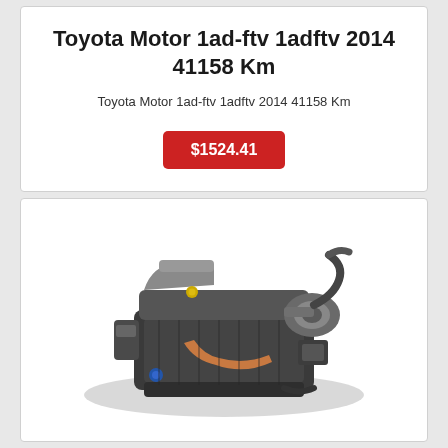Toyota Motor 1ad-ftv 1adftv 2014 41158 Km
Toyota Motor 1ad-ftv 1adftv 2014 41158 Km
$1524.41
[Figure (photo): Used Toyota 1AD-FTV diesel engine, showing a complex engine block with turbocharger and various hoses and components, photographed on a white background.]